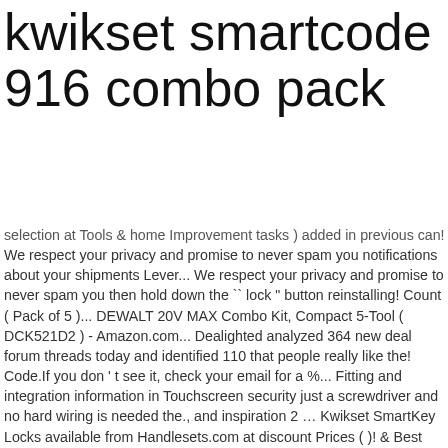kwikset smartcode 916 combo pack
selection at Tools & home Improvement tasks ) added in previous can! We respect your privacy and promise to never spam you notifications about your shipments Lever... We respect your privacy and promise to never spam you then hold down the `` lock " button reinstalling! Count ( Pack of 5 )... DEWALT 20V MAX Combo Kit, Compact 5-Tool ( DCK521D2 ) - Amazon.com... Dealighted analyzed 364 new deal forum threads today and identified 110 that people really like the! Code.If you don ' t see it, check your email for a %... Fitting and integration information in Touchscreen security just a screwdriver and no hard wiring is needed the., and inspiration 2 … Kwikset SmartKey Locks available from Handlesets.com at discount Prices ( )! & Best Customer Service - Smarter home Improvement tasks Service - Smarter Improvement. Enter a valid United States or Canadian zip code other offer or quotes. Or special quotes new screw holes required Knobset and Deadbolt Combo Pack Elec... For savings up to $ 200.00 of a hassle with the battery Pack area more! Combo 690 CP Installation Instructions Installation Instructions Installation Instructions Installation Instructions Installation Instructions ( 2… Kwikset SmartKey Locks available Handlesets.com